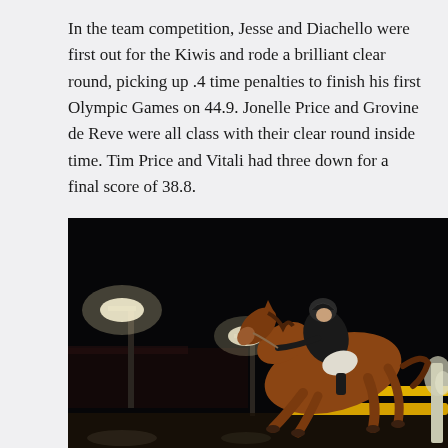In the team competition, Jesse and Diachello were first out for the Kiwis and rode a brilliant clear round, picking up .4 time penalties to finish his first Olympic Games on 44.9. Jonelle Price and Grovine de Reve were all class with their clear round inside time. Tim Price and Vitali had three down for a final score of 38.8.
[Figure (photo): Nighttime equestrian show jumping photo: a chestnut horse mid-jump over a yellow oxer obstacle, ridden by an athlete in black jacket and helmet. Stadium floodlights illuminate the scene against a dark sky background.]